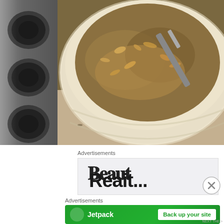[Figure (photo): A white ceramic mixing bowl filled with oatmeal cookie batter with a spoon/spatula, placed on a granite countertop next to a dark metal muffin tin on the left side.]
Advertisements
[Figure (other): Advertisement box with large bold partial text visible]
[Figure (other): Close button (X in circle) for advertisement]
Advertisements
[Figure (other): Jetpack advertisement banner with green background showing Jetpack logo and 'Back up your site' button]